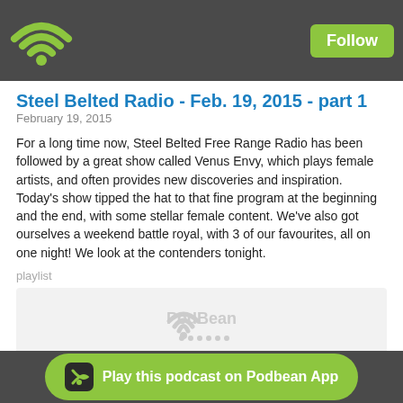Steel Belted Radio - Follow
Steel Belted Radio - Feb. 19, 2015 - part 1
February 19, 2015
For a long time now, Steel Belted Free Range Radio has been followed by a great show called Venus Envy, which plays female artists, and often provides new discoveries and inspiration. Today's show tipped the hat to that fine program at the beginning and the end, with some stellar female content. We've also got ourselves a weekend battle royal, with 3 of our favourites, all on one night! We look at the contenders tonight.
playlist
[Figure (logo): PodBean audio player placeholder with PodBean logo]
Likes   Share   Download(162)
Play this podcast on Podbean App